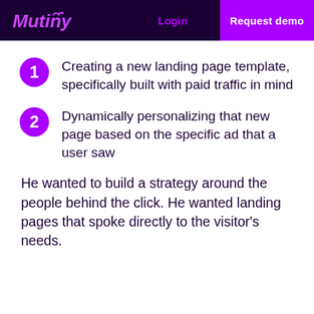Mutiny | Login | Request demo
Creating a new landing page template, specifically built with paid traffic in mind
Dynamically personalizing that new page based on the specific ad that a user saw
He wanted to build a strategy around the people behind the click. He wanted landing pages that spoke directly to the visitor's needs.